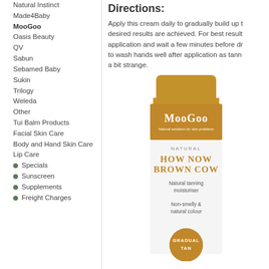Natural Instinct
Made4Baby
MooGoo
Oasis Beauty
QV
Sabun
Sebamed Baby
Sukin
Trilogy
Weleda
Other
Tui Balm Products
Facial Skin Care
Body and Hand Skin Care
Lip Care
Specials
Sunscreen
Supplements
Freight Charges
Directions:
Apply this cream daily to gradually build up to desired results are achieved. For best results application and wait a few minutes before dressing. to wash hands well after application as tanning a bit strange.
[Figure (photo): MooGoo Natural How Now Brown Cow natural tanning moisturiser tube product photo]